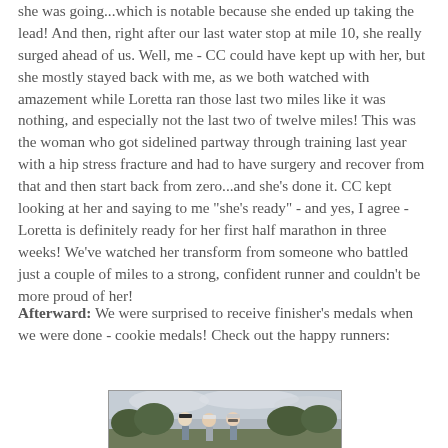she was going...which is notable because she ended up taking the lead!  And then, right after our last water stop at mile 10, she really surged ahead of us.  Well, me - CC could have kept up with her, but she mostly stayed back with me, as we both watched with amazement while Loretta ran those last two miles like it was nothing, and especially not the last two of twelve miles!  This was the woman who got sidelined partway through training last year with a hip stress fracture and had to have surgery and recover from that and then start back from zero...and she's done it.  CC kept looking at her and saying to me "she's ready" - and yes, I agree - Loretta is definitely ready for her first half marathon in three weeks!  We've watched her transform from someone who battled just a couple of miles to a strong, confident runner and couldn't be more proud of her!
Afterward:  We were surprised to receive finisher's medals when we were done - cookie medals!  Check out the happy runners:
[Figure (photo): Three runners wearing caps posing together outdoors after a race, smiling, with trees and cloudy sky in the background.]